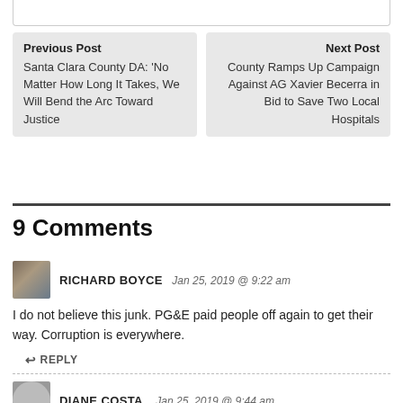Previous Post
Santa Clara County DA: 'No Matter How Long It Takes, We Will Bend the Arc Toward Justice
Next Post
County Ramps Up Campaign Against AG Xavier Becerra in Bid to Save Two Local Hospitals
9 Comments
RICHARD BOYCE  Jan 25, 2019 @ 9:22 am
I do not believe this junk. PG&E paid people off again to get their way. Corruption is everywhere.
↩ REPLY
DIANE COSTA,  Jan 25, 2019 @ 9:44 am